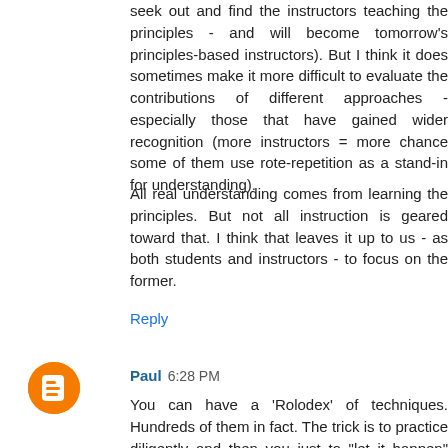seek out and find the instructors teaching the principles - and will become tomorrow's principles-based instructors). But I think it does sometimes make it more difficult to evaluate the contributions of different approaches - especially those that have gained wider recognition (more instructors = more chance some of them use rote-repetition as a stand-in for understanding).
All real understanding comes from learning the principles. But not all instruction is geared toward that. I think that leaves it up to us - as both students and instructors - to focus on the former.
Reply
Paul 6:28 PM
You can have a 'Rolodex' of techniques. Hundreds of them in fact. The trick is to practice diligently and then you just to "let it happen" and not think technique once you see a fight is coming. Your subconscious will pick what is necessary and pick it far faster than your conscious thought.
Reply